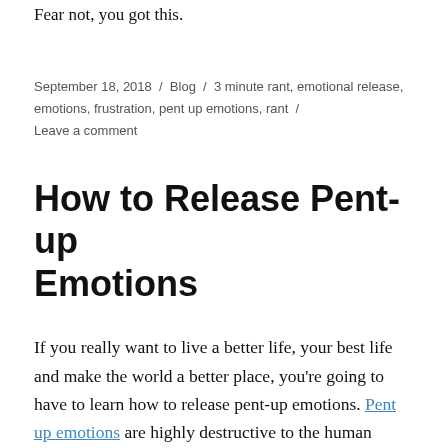Fear not, you got this.
September 18, 2018 / Blog / 3 minute rant, emotional release, emotions, frustration, pent up emotions, rant / Leave a comment
How to Release Pent-up Emotions
If you really want to live a better life, your best life and make the world a better place, you’re going to have to learn how to release pent-up emotions. Pent up emotions are highly destructive to the human body, leading to the